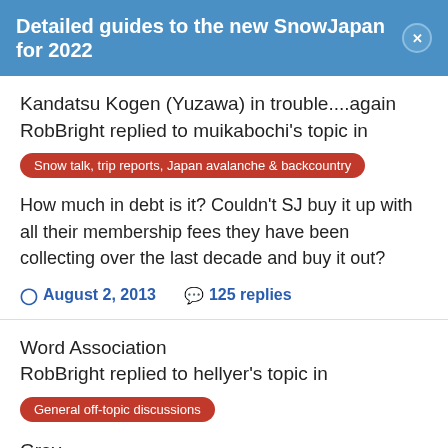Detailed guides to the new SnowJapan for 2022
Kandatsu Kogen (Yuzawa) in trouble....again
RobBright replied to muikabochi's topic in
Snow talk, trip reports, Japan avalanche & backcountry
How much in debt is it? Couldn't SJ buy it up with all their membership fees they have been collecting over the last decade and buy it out?
August 2, 2013   125 replies
Word Association
RobBright replied to hellyer's topic in
General off-topic discussions
Grey